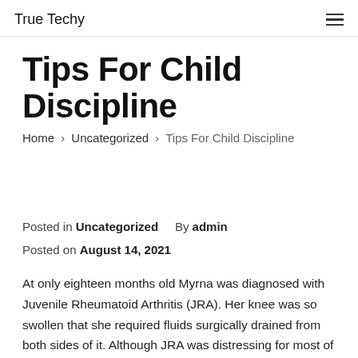True Techy
Tips For Child Discipline
Home › Uncategorized › Tips For Child Discipline
Posted in Uncategorized   By admin
Posted on August 14, 2021
At only eighteen months old Myrna was diagnosed with Juvenile Rheumatoid Arthritis (JRA). Her knee was so swollen that she required fluids surgically drained from both sides of it. Although JRA was distressing for most of her life, as an adult she found out